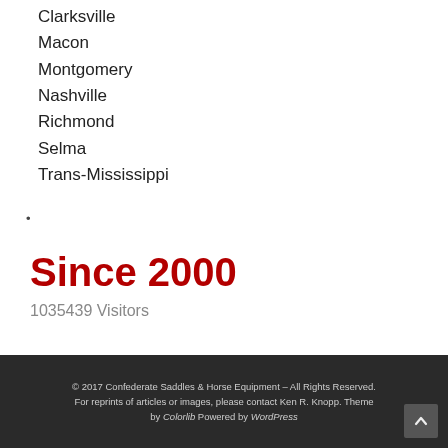Clarksville
Macon
Montgomery
Nashville
Richmond
Selma
Trans-Mississippi
•
Since 2000
1035439 Visitors
© 2017 Confederate Saddles & Horse Equipment – All Rights Reserved. For reprints of articles or images, please contact Ken R. Knopp. Theme by Colorlib Powered by WordPress